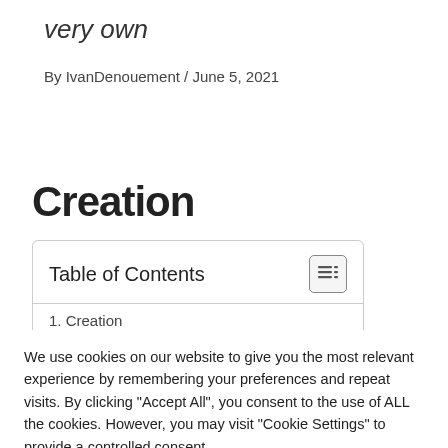very own
By IvanDenouement / June 5, 2021
Creation
| Table of Contents |
| --- |
| 1. Creation |
We use cookies on our website to give you the most relevant experience by remembering your preferences and repeat visits. By clicking "Accept All", you consent to the use of ALL the cookies. However, you may visit "Cookie Settings" to provide a controlled consent.
Cookie Settings | Accept All